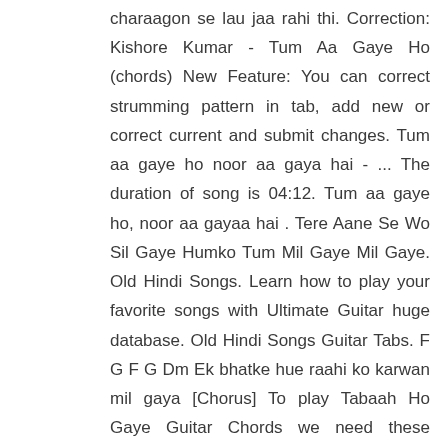charaagon se lau jaa rahi thi. Correction: Kishore Kumar - Tum Aa Gaye Ho (chords) New Feature: You can correct strumming pattern in tab, add new or correct current and submit changes. Tum aa gaye ho noor aa gaya hai - ... The duration of song is 04:12. Tum aa gaye ho, noor aa gayaa hai . Tere Aane Se Wo Sil Gaye Humko Tum Mil Gaye Mil Gaye. Old Hindi Songs. Learn how to play your favorite songs with Ultimate Guitar huge database. Old Hindi Songs Guitar Tabs. F G F G Dm Ek bhatke hue raahi ko karwan mil gaya [Chorus] To play Tabaah Ho Gaye Guitar Chords we need these chords E minor, as a base Chord, D major, C major, G major, and E minor.. Tum Chale Gaye Guitar Chords | Yasser Desai presents his new song from Marudhar Express, the chords that we have used in his song are C, G, D, Am & E and the D major chord is being